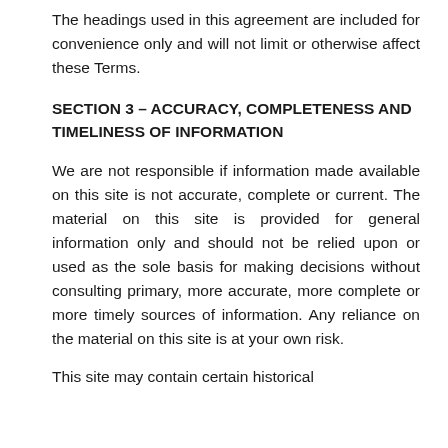The headings used in this agreement are included for convenience only and will not limit or otherwise affect these Terms.
SECTION 3 – ACCURACY, COMPLETENESS AND TIMELINESS OF INFORMATION
We are not responsible if information made available on this site is not accurate, complete or current. The material on this site is provided for general information only and should not be relied upon or used as the sole basis for making decisions without consulting primary, more accurate, more complete or more timely sources of information. Any reliance on the material on this site is at your own risk.
This site may contain certain historical information. Historical information, necessarily, is not current and is provided for your reference only.